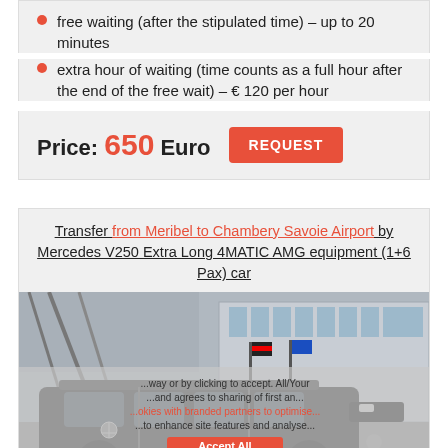free waiting (after the stipulated time) – up to 20 minutes
extra hour of waiting (time counts as a full hour after the end of the free wait) – € 120 per hour
Price: 650 Euro REQUEST
Transfer from Meribel to Chambery Savoie Airport by Mercedes V250 Extra Long 4MATIC AMG equipment (1+6 Pax) car
[Figure (photo): Black Mercedes V250 Extra Long minivan parked outside an airport terminal building with flags visible]